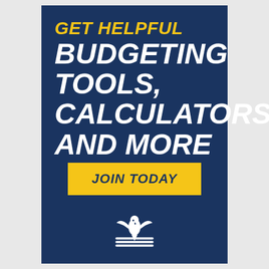GET HELPFUL BUDGETING TOOLS, CALCULATORS AND MORE
JOIN TODAY
[Figure (logo): Organization logo — stylized eagle/flag icon in white on dark blue background]